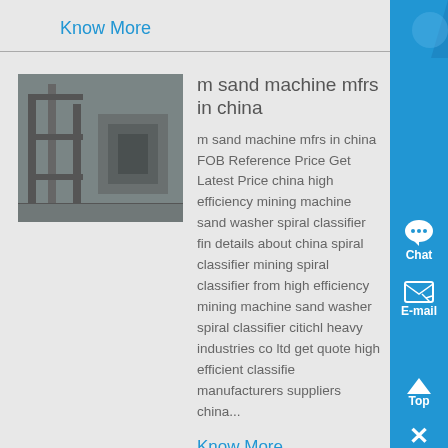Know More
[Figure (photo): Industrial sand machine / mining equipment facility interior with metal scaffolding and machinery]
m sand machine mfrs in china
m sand machine mfrs in china FOB Reference Price Get Latest Price china high efficiency mining machine sand washer spiral classifier find details about china spiral classifier mining spiral classifier from high efficiency mining machine sand washer spiral classifier citichl heavy industries co ltd get quote high efficient classifier manufacturers suppliers china...
Know More
[Figure (photo): Woodworking machine / wool textile manufacturing equipment — cylindrical metal parts on ground]
China Woodworking Machine manufacturer, Wool Textile ,